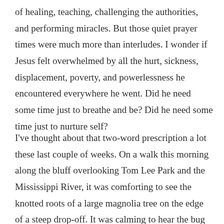of healing, teaching, challenging the authorities, and performing miracles. But those quiet prayer times were much more than interludes. I wonder if Jesus felt overwhelmed by all the hurt, sickness, displacement, poverty, and powerlessness he encountered everywhere he went. Did he need some time just to breathe and be? Did he need some time just to nurture self?
I've thought about that two-word prescription a lot these last couple of weeks. On a walk this morning along the bluff overlooking Tom Lee Park and the Mississippi River, it was comforting to see the knotted roots of a large magnolia tree on the edge of a steep drop-off. It was calming to hear the bug sounds joined by a chorus of cicadas this year. It was soothing